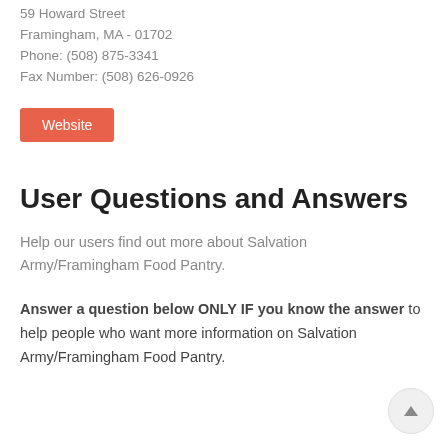59 Howard Street
Framingham, MA - 01702
Phone: (508) 875-3341
Fax Number: (508) 626-0926
Website
User Questions and Answers
Help our users find out more about Salvation Army/Framingham Food Pantry.
Answer a question below ONLY IF you know the answer to help people who want more information on Salvation Army/Framingham Food Pantry.